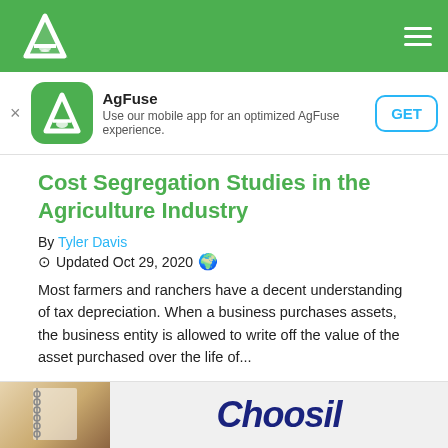AgFuse navigation bar with logo and menu
[Figure (logo): AgFuse app banner with icon, name, description and GET button]
Cost Segregation Studies in the Agriculture Industry
By Tyler Davis
Updated Oct 29, 2020
Most farmers and ranchers have a decent understanding of tax depreciation. When a business purchases assets, the business entity is allowed to write off the value of the asset purchased over the life of...
Accounting and Bookkeeping
Agribusiness
[Figure (photo): Bottom preview area with notebook thumbnail and Choosil brand logo]